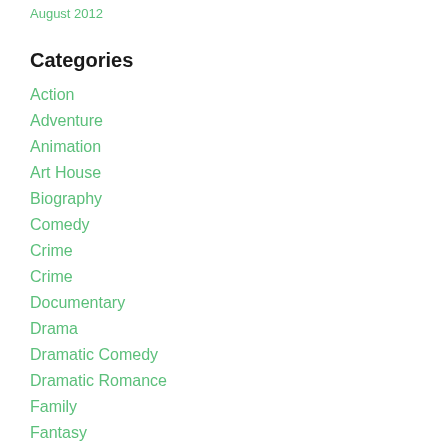August 2012
Categories
Action
Adventure
Animation
Art House
Biography
Comedy
Crime
Crime
Documentary
Drama
Dramatic Comedy
Dramatic Romance
Family
Fantasy